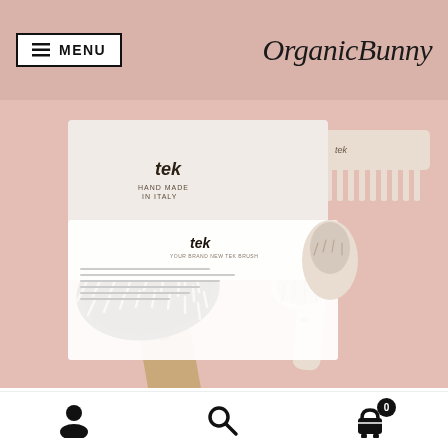MENU | OrganicBunny
[Figure (photo): Tek brand wooden hair brushes and combs arranged on a pink background. Includes a large paddle brush with wooden pins, a small oval brush, a wide-tooth wooden comb, and a Tek branded card/packaging.]
TEK HAIR BRUSHES
User icon | Search icon | Cart icon (0)